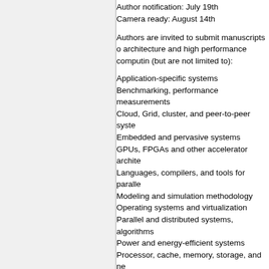Author notification: July 19th
Camera ready: August 14th
Authors are invited to submit manuscripts on architecture and high performance computing (but are not limited to):
Application-specific systems
Benchmarking, performance measurements
Cloud, Grid, cluster, and peer-to-peer systems
Embedded and pervasive systems
GPUs, FPGAs and other accelerator architectures
Languages, compilers, and tools for parallel
Modeling and simulation methodology
Operating systems and virtualization
Parallel and distributed systems, algorithms
Power and energy-efficient systems
Processor, cache, memory, storage, and ne
Real-world applications and case studies
Reconfigurable, resilient and fault-tolerant s
Submissions must be in English, 8 pages m conference formatting guidelines.
To be published in the SBAC-PAD 2015 Co eligible for publication at the IEEE Xplore (p must register at the full rate. Authors may n for multiple papers. Authors of selected pap extended versions of their papers for publica Parallel and Distributed Computing.